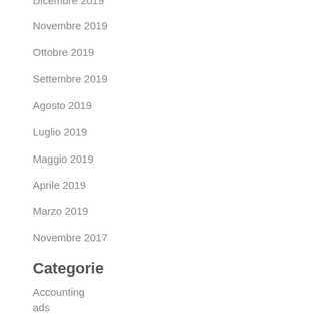Dicembre 2019
Novembre 2019
Ottobre 2019
Settembre 2019
Agosto 2019
Luglio 2019
Maggio 2019
Aprile 2019
Marzo 2019
Novembre 2017
Categorie
Accounting
ads
Alcohol Prediction
AnyMathOnlinePrinting...